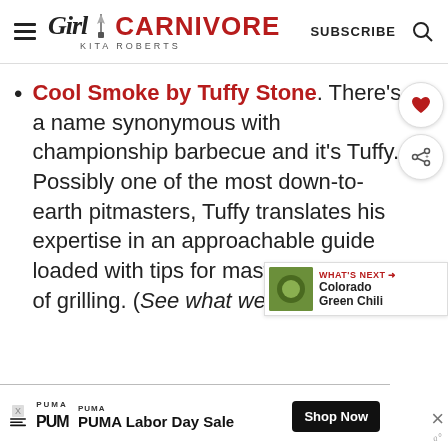Girl Carnivore - Kita Roberts | SUBSCRIBE
Cool Smoke by Tuffy Stone. There's a name synonymous with championship barbecue and it's Tuffy. Possibly one of the most down-to-earth pitmasters, Tuffy translates his expertise in an approachable guide loaded with tips for mastering the art of grilling. (See what we did there?)
PUMA Labor Day Sale - Shop Now